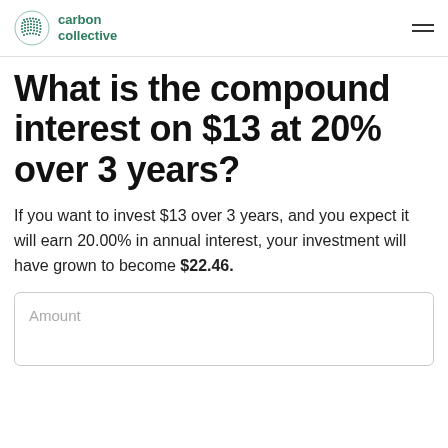carbon collective
What is the compound interest on $13 at 20% over 3 years?
If you want to invest $13 over 3 years, and you expect it will earn 20.00% in annual interest, your investment will have grown to become $22.46.
Amount